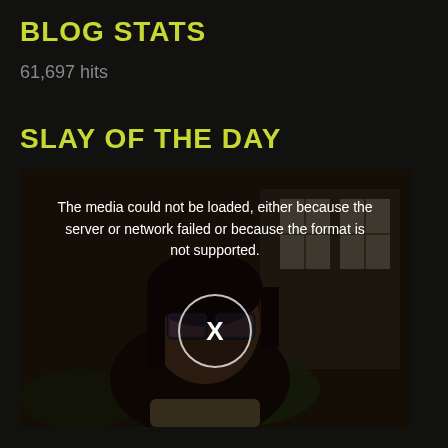BLOG STATS
61,697 hits
SLAY OF THE DAY
[Figure (screenshot): Video player showing a person wearing glasses outdoors with an error message overlay reading: The media could not be loaded, either because the server or network failed or because the format is not supported. An X button in a circle is shown in the center.]